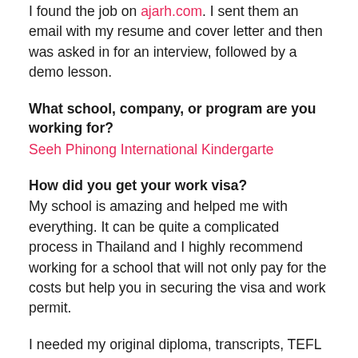I found the job on ajarh.com. I sent them an email with my resume and cover letter and then was asked in for an interview, followed by a demo lesson.
What school, company, or program are you working for?
Seeh Phinong International Kindergarte
How did you get your work visa?
My school is amazing and helped me with everything. It can be quite a complicated process in Thailand and I highly recommend working for a school that will not only pay for the costs but help you in securing the visa and work permit.
I needed my original diploma, transcripts, TEFL certificate, medical certificate, lots of photos, copies